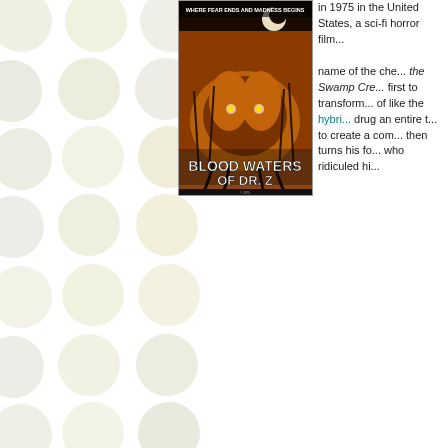[Figure (photo): Movie poster for 'Blood Waters of Dr. Z' featuring a swamp creature illustration with orange/brown tones, tagline 'Where Fear Ends and Madness Begins' at top]
In 1975 in the United States, a sci-fi horror film... name of the che... the Swamp Cre... first to transform... of like the hybrid... drug an entire t... to create a com... then turns his fo... who ridiculed hi...